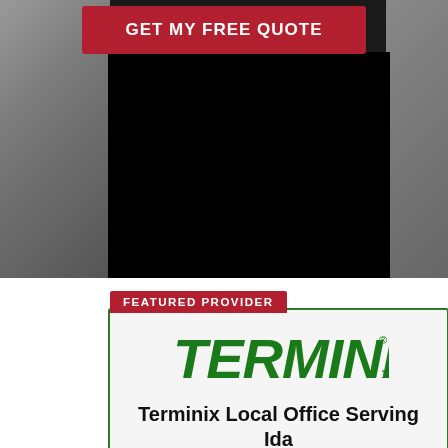[Figure (photo): Dark/black banner area with blurred background image visible on left and right sides, and a red CTA button at the top center]
GET MY FREE QUOTE
FEATURED PROVIDER
[Figure (logo): Terminix logo in bold green italic letters with registered trademark symbol]
Terminix Local Office Serving Ida
Open 24 Hours
Call 318-565-6218
CALL NOW
SPECIAL OFFER